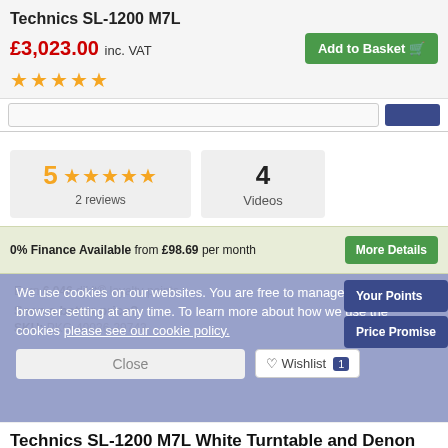Technics SL-1200 M7L
£3,023.00 inc. VAT
★★★★★ (stars rating)
5 ★★★★★ 2 reviews
4 Videos
0% Finance Available from £98.69 per month
Earn 6,046 djkit® loyalty points
Seen a better price?
SKU: PKG-49036-39743
We use cookies on our websites. You are free to manage this via your browser setting at any time. To learn more about how we use the cookies please see our cookie policy.
Close
♡ Wishlist 1
Technics SL-1200 M7L White Turntable and Denon